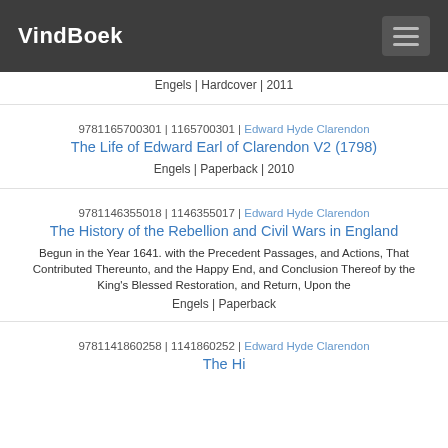VindBoek
Engels | Hardcover | 2011
9781165700301 | 1165700301 | Edward Hyde Clarendon
The Life of Edward Earl of Clarendon V2 (1798)
Engels | Paperback | 2010
9781146355018 | 1146355017 | Edward Hyde Clarendon
The History of the Rebellion and Civil Wars in England
Begun in the Year 1641. with the Precedent Passages, and Actions, That Contributed Thereunto, and the Happy End, and Conclusion Thereof by the King's Blessed Restoration, and Return, Upon the
Engels | Paperback
9781141860258 | 1141860252 | Edward Hyde Clarendon
The History Of The Rebellion And Civil Wars In England